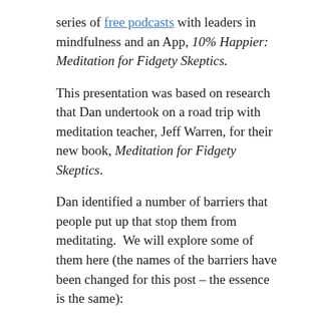series of free podcasts with leaders in mindfulness and an App, 10% Happier: Meditation for Fidgety Skeptics.
This presentation was based on research that Dan undertook on a road trip with meditation teacher, Jeff Warren, for their new book, Meditation for Fidgety Skeptics.
Dan identified a number of barriers that people put up that stop them from meditating.  We will explore some of them here (the names of the barriers have been changed for this post – the essence is the same):
1. My mind is too full